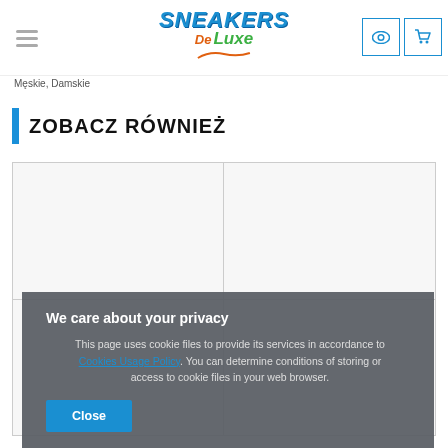Sneakers De Luxe — navigation header with logo, hamburger menu, eye icon, and cart icon
Męskie, Damskie
ZOBACZ RÓWNIEŻ
[Figure (other): Two-column product grid with empty product cells]
We care about your privacy
This page uses cookie files to provide its services in accordance to Cookies Usage Policy. You can determine conditions of storing or access to cookie files in your web browser.
Close